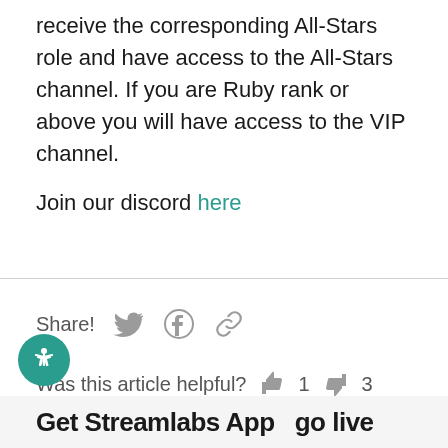receive the corresponding All-Stars role and have access to the All-Stars channel. If you are Ruby rank or above you will have access to the VIP channel.
Join our discord here
Share!
Was this article helpful? 1  3
Get Streamlabs App  go live